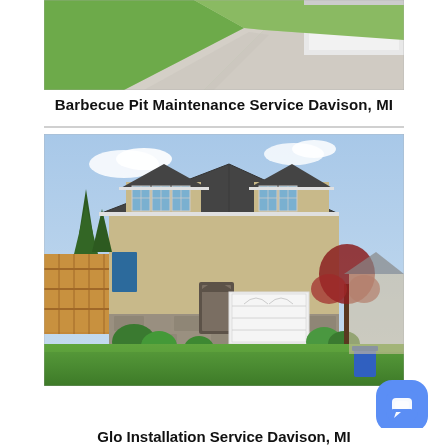[Figure (photo): Aerial view of a residential driveway with concrete path and green lawn in front of a white garage]
Barbecue Pit Maintenance Service Davison, MI
[Figure (photo): Two-story craftsman style house with beige/tan siding, dark roof, white garage door, stone exterior accents, green lawn, Japanese maple tree, and wood fence]
Glo Installation Service Davison, MI